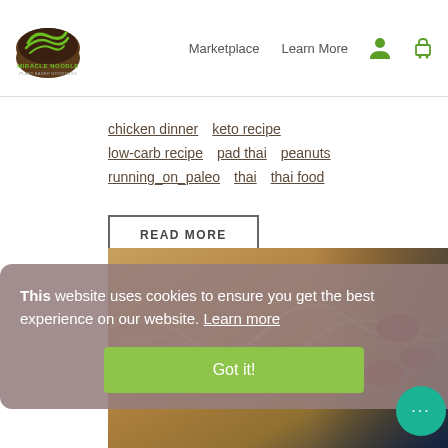[Figure (logo): Miracle Noodle logo – green noodle bowl with brown background and green text]
Marketplace   Learn More
chicken dinner   keto recipe
low-carb recipe   pad thai   peanuts
running_on_paleo   thai   thai food
READ MORE
This website uses cookies to ensure you get the best experience on our website. Learn more
Got it!
[Figure (photo): Food photo showing noodles with beans and other ingredients]